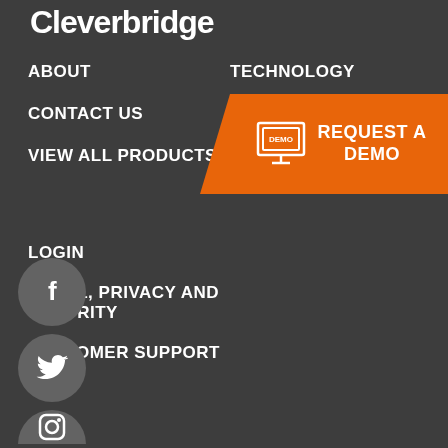Cleverbridge
ABOUT
TECHNOLOGY
CONTACT US
OV[ER...]
[Figure (infographic): Orange 'REQUEST A DEMO' banner with monitor/screen icon labeled DEMO]
VIEW ALL PRODUCTS
LOGIN
LEGAL, PRIVACY AND SECURITY
CUSTOMER SUPPORT
[Figure (infographic): Social media icons: Facebook, Twitter, and a third (partially visible) in white circles on dark background]